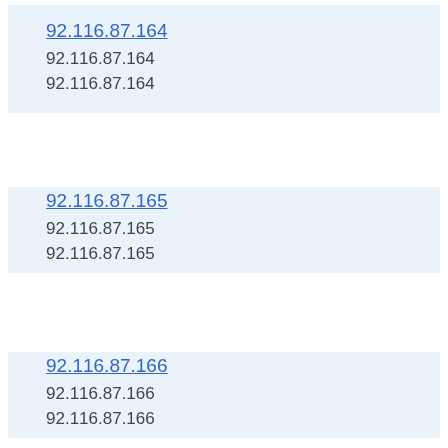92.116.87.164 (link)
92.116.87.164
92.116.87.164
92.116.87.165 (link)
92.116.87.165
92.116.87.165
92.116.87.166 (link)
92.116.87.166
92.116.87.166